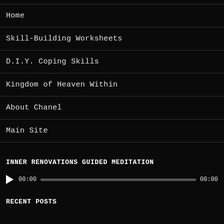Home
Skill-Building Worksheets
D.I.Y. Coping Skills
Kingdom of Heaven Within
About Chanel
Main Site
INNER RENOVATIONS GUIDED MEDITATION
[Figure (other): Audio player with play button, time labels showing 00:00 on both sides, and a progress bar]
RECENT POSTS